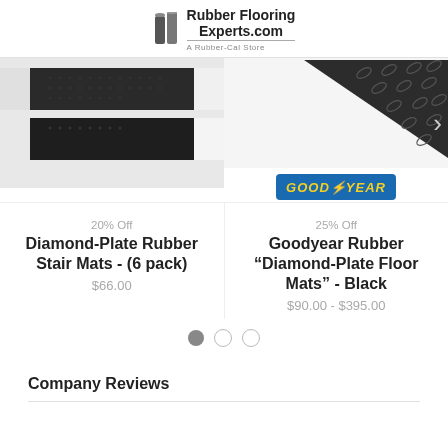RubberFlooringExperts.com — A Rubber-Cal Store
[Figure (photo): Diamond-plate rubber stair mats shown in black and white color options, angled view from above]
[Figure (photo): Goodyear rubber diamond-plate floor mat in black, triangular corner view with Goodyear logo badge]
20% Off
Diamond-Plate Rubber Stair Mats - (6 pack)
$66.00
25% Off
Goodyear Rubber "Diamond-Plate Floor Mats" - Black
$90.00 - $395.00
[Figure (infographic): Carousel pagination dots: one filled gray dot and two empty circles]
Company Reviews